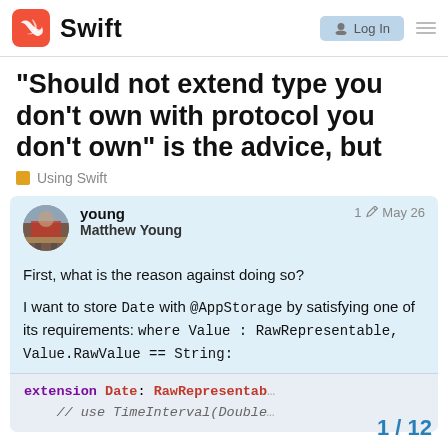Swift  [Log In]
“Should not extend type you don’t own with protocol you don’t own” is the advice, but
Using Swift
young  Matthew Young   1  May 26
First, what is the reason against doing so?
I want to store Date with @AppStorage by satisfying one of its requirements: where Value : RawRepresentable, Value.RawValue == String:
extension Date: RawRepresentab...
// use TimeInterval(Double...
1 / 12